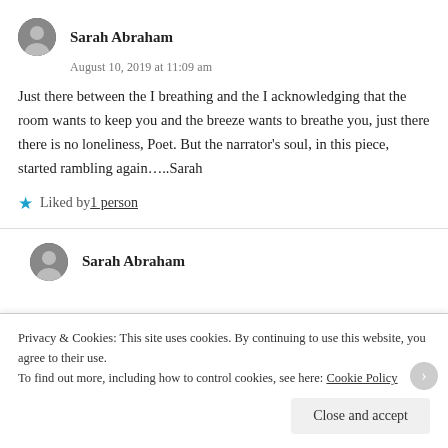Sarah Abraham
August 10, 2019 at 11:09 am
Just there between the I breathing and the I acknowledging that the room wants to keep you and the breeze wants to breathe you, just there there is no loneliness, Poet. But the narrator's soul, in this piece, started rambling again…..Sarah
Liked by 1 person
Sarah Abraham
Privacy & Cookies: This site uses cookies. By continuing to use this website, you agree to their use. To find out more, including how to control cookies, see here: Cookie Policy
Close and accept